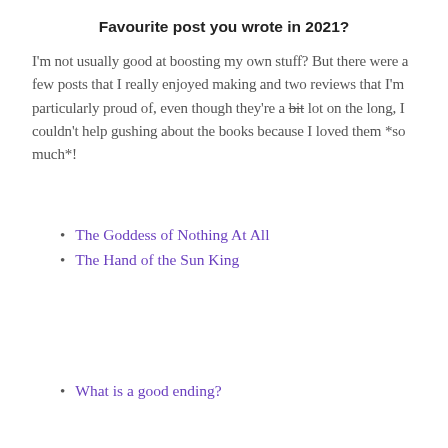Favourite post you wrote in 2021?
I'm not usually good at boosting my own stuff? But there were a few posts that I really enjoyed making and two reviews that I'm particularly proud of, even though they're a bit lot on the long, I couldn't help gushing about the books because I loved them *so much*!
The Goddess of Nothing At All
The Hand of the Sun King
What is a good ending?